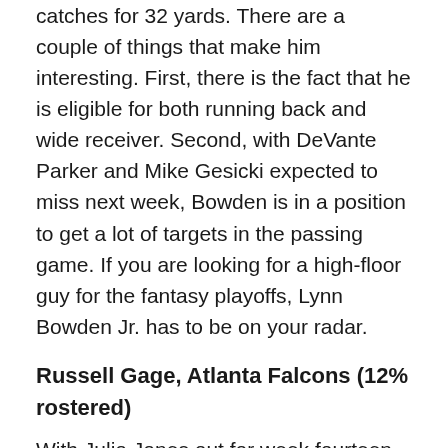catches for 32 yards. There are a couple of things that make him interesting. First, there is the fact that he is eligible for both running back and wide receiver. Second, with DeVante Parker and Mike Gesicki expected to miss next week, Bowden is in a position to get a lot of targets in the passing game. If you are looking for a high-floor guy for the fantasy playoffs, Lynn Bowden Jr. has to be on your radar.
Russell Gage, Atlanta Falcons (12% rostered)
With Julio Jones out for week fourteen, Russell Gage became fantasy relevant again with 5 catches for 82 yards. Russell Gage's value is inversely related to Julio Jones. If Julio plays, Gage's value goes down. If Julio misses week fifteen, grab all the Russell Gage shares.
Rashard Higgins, Cleveland Browns (9% rostered)
For two weeks in a row, Rashard Higgins had 6 catches